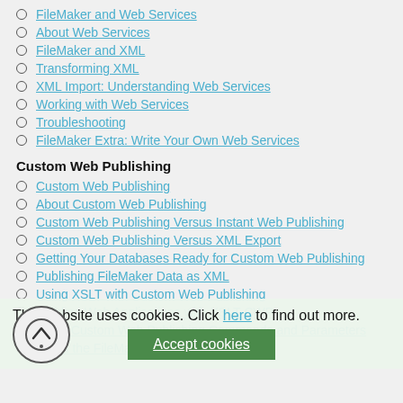FileMaker and Web Services
About Web Services
FileMaker and XML
Transforming XML
XML Import: Understanding Web Services
Working with Web Services
Troubleshooting
FileMaker Extra: Write Your Own Web Services
Custom Web Publishing
Custom Web Publishing
About Custom Web Publishing
Custom Web Publishing Versus Instant Web Publishing
Custom Web Publishing Versus XML Export
Getting Your Databases Ready for Custom Web Publishing
Publishing FileMaker Data as XML
Using XSLT with Custom Web Publishing
Building Web Applications with XSLT-CWP
Other Custom Web Publishing Commands and Parameters
About the FileMaker XSLT Extensions
This website uses cookies. Click here to find out more.
Accept cookies